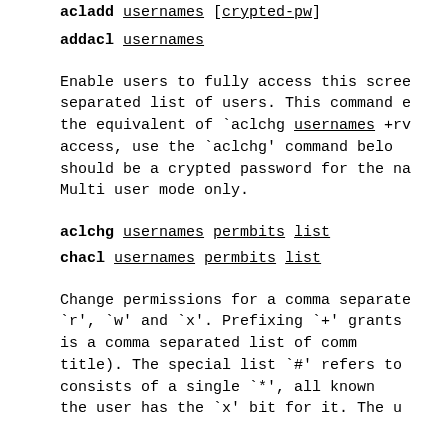acladd usernames [crypted-pw]
addacl usernames
Enable users to fully access this scre separated list of users. This command e the equivalent of `aclchg usernames +rv access, use the `aclchg' command belo should be a crypted password for the na Multi user mode only.
aclchg usernames permbits list
chacl usernames permbits list
Change permissions for a comma separate `r', `w' and `x'. Prefixing `+' grants is a comma separated list of comm title). The special list `#' refers to consists of a single `*', all known the user has the `x' bit for it. The u